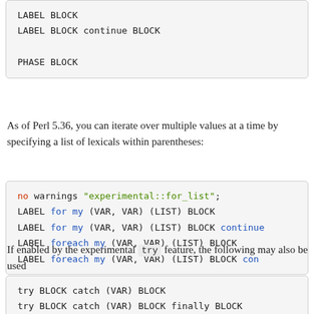LABEL BLOCK
LABEL BLOCK continue BLOCK

PHASE BLOCK
As of Perl 5.36, you can iterate over multiple values at a time by specifying a list of lexicals within parentheses:
no warnings "experimental::for_list";
LABEL for my (VAR, VAR) (LIST) BLOCK
LABEL for my (VAR, VAR) (LIST) BLOCK continue
LABEL foreach my (VAR, VAR) (LIST) BLOCK
LABEL foreach my (VAR, VAR) (LIST) BLOCK cont
If enabled by the experimental try feature, the following may also be used
try BLOCK catch (VAR) BLOCK
try BLOCK catch (VAR) BLOCK finally BLOCK